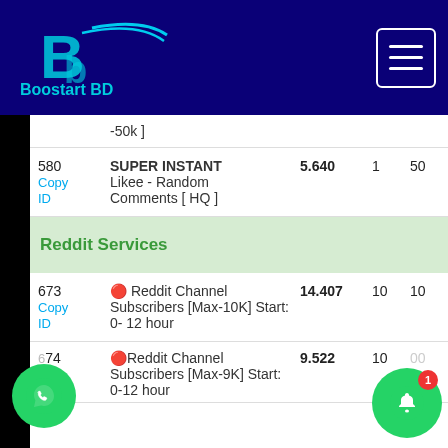[Figure (logo): Boostart BD logo with cyan stylized B letter and swoosh on dark blue background]
-50k ]
| ID | Service | Price | Min | Max |
| --- | --- | --- | --- | --- |
| 580
Copy ID | SUPER INSTANT Likee - Random Comments [ HQ ] | 5.640 | 1 | 50 |
| 673
Copy ID | 🔴 Reddit Channel Subscribers [Max-10K] Start: 0- 12 hour | 14.407 | 10 | 10 |
| 674 | 🔴Reddit Channel Subscribers [Max-9K] Start: 0-12 hour | 9.522 | 10 | 00 |
Reddit Services